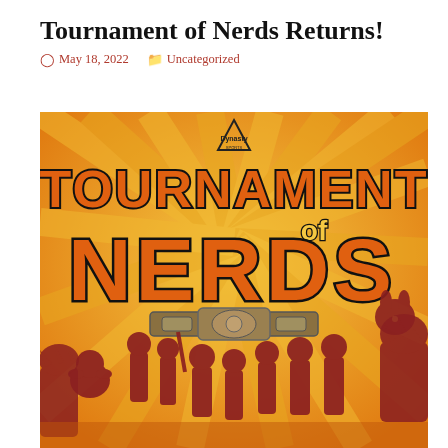Tournament of Nerds Returns!
May 18, 2022   Uncategorized
[Figure (illustration): Tournament of Nerds promotional poster with orange/yellow sunburst background, large stylized text 'TOURNAMENT OF NERDS', a wrestling belt, and silhouettes of various pop culture characters including Baby Yoda, Pikachu, Godzilla, and several human figures.]